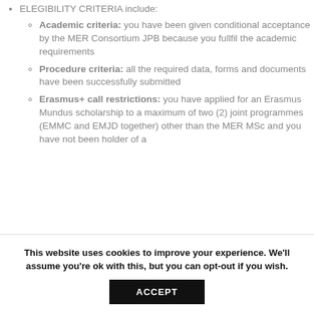ELEGIBILITY CRITERIA include:
Academic criteria: you have been given conditional acceptance by the MER Consortium JPB because you fullfil the academic requirements
Procedure criteria: all the required data, forms and documents have been successfully submitted
Erasmus+ call restrictions: you have applied for an Erasmus Mundus scholarship to a maximum of two (2) joint programmes (EMMC and EMJD together) other than the MER MSc and you have not been holder of a
This website uses cookies to improve your experience. We'll assume you're ok with this, but you can opt-out if you wish.